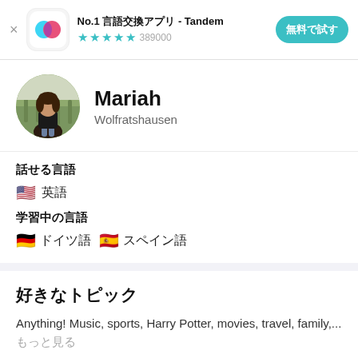[Figure (screenshot): Ad banner for Tandem language exchange app with logo, star rating 389000 reviews, and button]
No.1 言語交換アプリ - Tandem
★★★★☆ 389000
無料で試す
[Figure (photo): Circular profile photo of Mariah, a woman standing outdoors in a vineyard]
Mariah
Wolfratshausen
話せる言語
🇺🇸 英語
学習中の言語
🇩🇪 ドイツ語　🇪🇸 スペイン語
好きなトピック
Anything! Music, sports, Harry Potter, movies, travel, family,...もっと見る